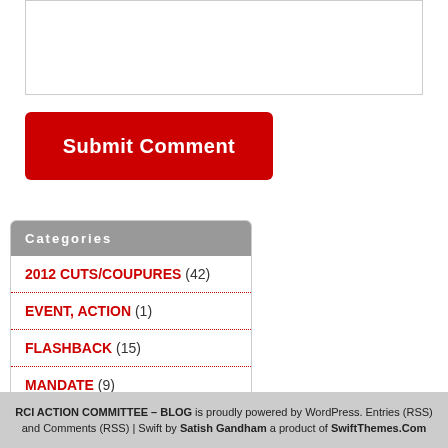[Figure (other): Text input/comment box (empty form field)]
Submit Comment
Categories
2012 CUTS/COUPURES (42)
EVENT, ACTION (1)
FLASHBACK (15)
MANDATE (9)
NEWS (4)
UPDATE (87)
RCI ACTION COMMITTEE – BLOG is proudly powered by WordPress. Entries (RSS) and Comments (RSS) | Swift by Satish Gandham a product of SwiftThemes.Com